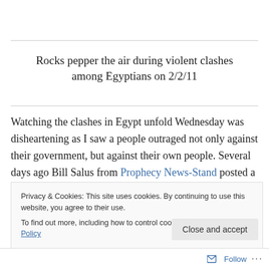Rocks pepper the air during violent clashes among Egyptians on 2/2/11
Watching the clashes in Egypt unfold Wednesday was disheartening as I saw a people outraged not only against their government, but against their own people. Several days ago Bill Salus from Prophecy News-Stand posted a fascinating piece that I decided to chew on and just see
Privacy & Cookies: This site uses cookies. By continuing to use this website, you agree to their use.
To find out more, including how to control cookies, see here: Cookie Policy